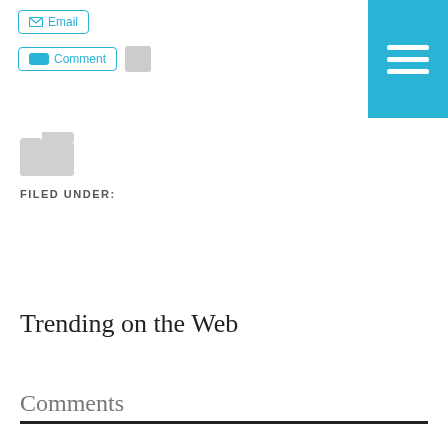[Figure (screenshot): Email button with envelope icon, cyan border]
[Figure (screenshot): Comment button with cyan speech bubble icon, cyan border; small grey share box to the right]
[Figure (screenshot): Cyan hamburger menu button in top-right corner]
[Figure (illustration): Grey folder icon]
FILED UNDER:
Trending on the Web
Comments
Comments
Powered by Facebook Comments
Leave a comment
Name